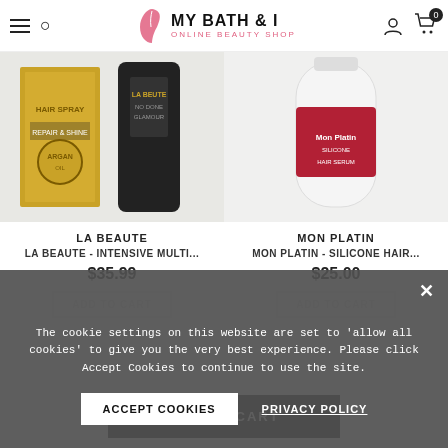MY BATH & I — ONLINE BEAUTY SHOP
[Figure (photo): Product image of La Beaute hair spray box (gold) and a black bottle on white background]
LA BEAUTE
LA BEAUTE - INTENSIVE MULTI...
$35.99
[Figure (photo): Product image of Mon Platin silicone hair product bottle on white background]
MON PLATIN
MON PLATIN - SILICONE HAIR...
$25.00
The cookie settings on this website are set to 'allow all cookies' to give you the very best experience. Please click Accept Cookies to continue to use the site.
ACCEPT COOKIES
PRIVACY POLICY
ADD TO CART